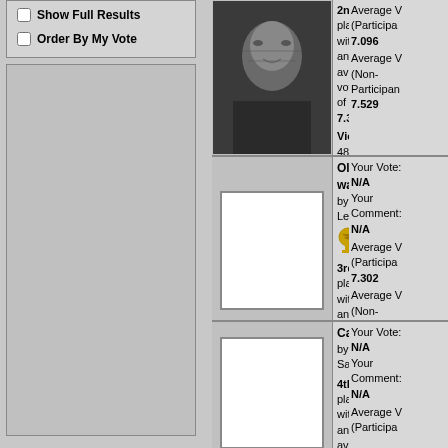Show Full Results
Order By My Vote
2nd place with an average vote of 7.3831
Views: 4833 (395 during voting)
Votes: 154
Average Vote (Participant): 7.096
Average Vote (Non-Participant): 7.529
Old warrior by LevT
3rd place with an average vote of 7.3032
Views: 4940 (374 during voting)
Votes: 155
Your Vote: N/A
Your Comment: N/A
Average Vote (Participant): 7.302
Average Vote (Non-Participant): 7.304
Caitlin by SandyP
4th place with an average vote of 7.2387
Your Vote: N/A
Your Comment: N/A
Average Vote (Participant):